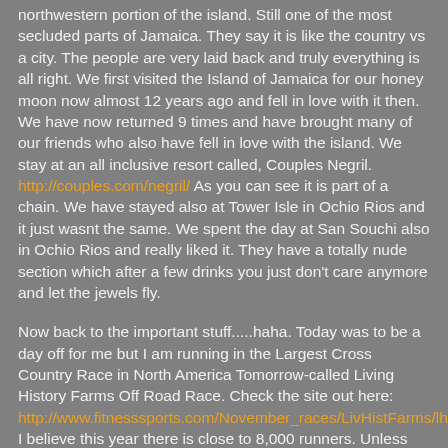northwestern portion of the island.  Still one of the most secluded parts of Jamaica.  They say it is like the country vs a city.  The people are very laid back and truly everything is all right.  We first visited the Island of Jamaica for our honey moon now almost 12 years ago and fell in love with it then.  We have now returned 9 times and have brought many of our friends who also have fell in love with the island.  We stay at an all inclusive resort called, Couples Negril. http://couples.com/negril/  As you can see it is part of a chain.  We have stayed also at Tower Isle in Ochio Rios and it just wasnt the same.  We spent the day at San Souchi also in Ochio Rios and really liked it.  They have a totally nude section which after a few drinks you just don't care anymore and let the jewels fly.
Now back to the important stuff.....haha.  Today was to be a day off for me but I am running in the Largest Cross Country Race in North America Tomorrow-called Living History Farms Off Road Race. Check the site out here: http://www.fitnesssports.com/November_races/LivHistFarms/lhf_index.html  I believe this year there is close to 8,000 runners.  Unless you start up front and want to be